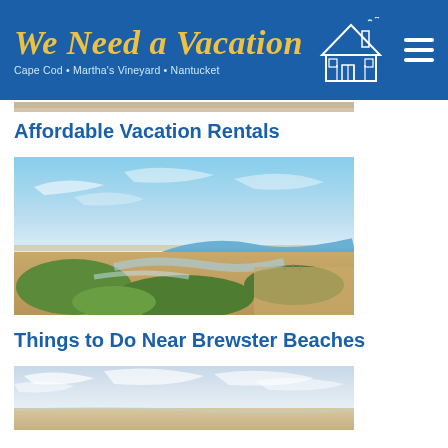We Need a Vacation — Cape Cod • Martha's Vineyard • Nantucket
[Figure (photo): Partial view of beach/sand image at top of content area]
Affordable Vacation Rentals
[Figure (photo): Coastal marsh scene with winding tidal creek, green grass, sandy banks and blue sky — near Brewster Beaches, Cape Cod]
Things to Do Near Brewster Beaches
[Figure (photo): Sandy beach scene with cloudy sky at bottom of page, partially cropped]